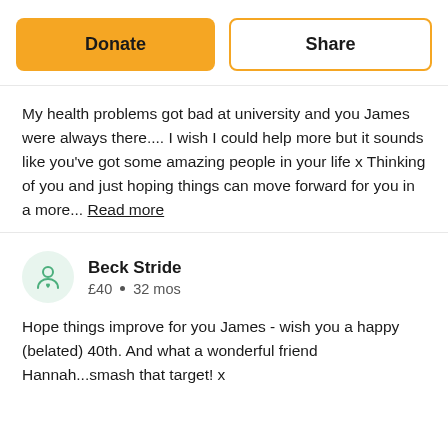Donate
Share
My health problems got bad at university and you James were always there.... I wish I could help more but it sounds like you've got some amazing people in your life x Thinking of you and just hoping things can move forward for you in a more... Read more
Beck Stride
£40 • 32 mos
Hope things improve for you James - wish you a happy (belated) 40th. And what a wonderful friend Hannah...smash that target! x